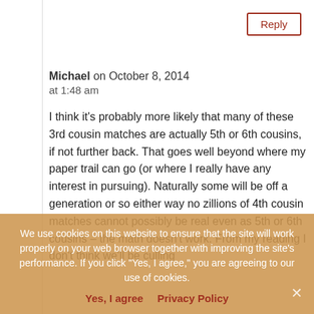Reply
Michael on October 8, 2014 at 1:48 am
I think it's probably more likely that many of these 3rd cousin matches are actually 5th or 6th cousins, if not further back. That goes well beyond where my paper trail can go (or where I really have any interest in pursuing). Naturally some will be off a generation or so either way no ... zillions of 4th cousin matches cannot possibly be real even as 5th or 6th cousins – the math doesn't work. From my reading I don't think we'll be culling
We use cookies on this website to ensure that the site will work properly on your web browser together with improving the site's performance. If you click "Yes, I agree," you are agreeing to our use of cookies.
Yes, I agree   Privacy Policy